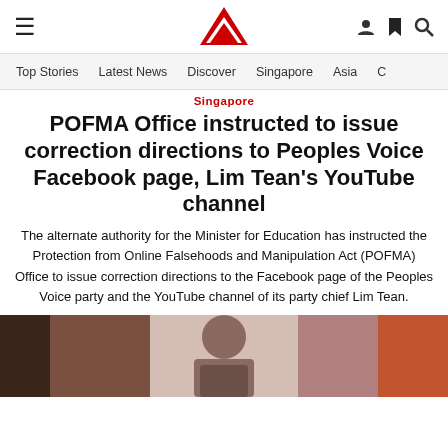CNA navigation bar with hamburger menu, CNA logo, user icon, bookmark icon, search icon
Top Stories | Latest News | Discover | Singapore | Asia
Singapore
POFMA Office instructed to issue correction directions to Peoples Voice Facebook page, Lim Tean's YouTube channel
The alternate authority for the Minister for Education has instructed the Protection from Online Falsehoods and Manipulation Act (POFMA) Office to issue correction directions to the Facebook page of the Peoples Voice party and the YouTube channel of its party chief Lim Tean.
[Figure (photo): Photograph of a person, partially visible, appearing to be at an event with a pinkish/reddish background]